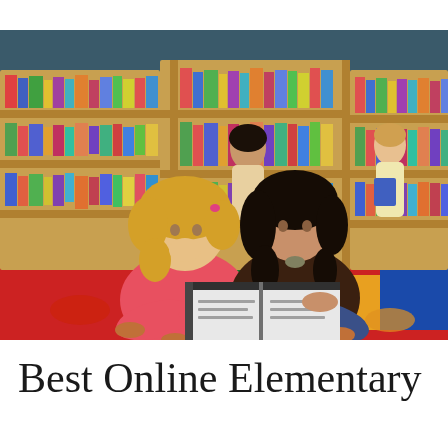[Figure (photo): Two young girls sitting cross-legged on a colorful classroom rug (red, blue, green), reading a book together. Behind them are wooden bookshelves filled with children's books. In the background, two more children stand near the shelves. The girl on the left has curly blonde hair and wears a pink top; the girl on the right has long dark hair and wears a dark brown top.]
Best Online Elementary Education P...